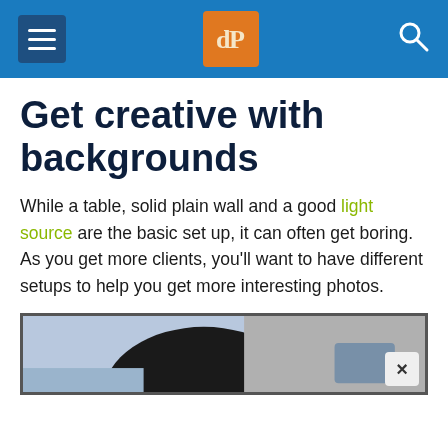dPS
Get creative with backgrounds
While a table, solid plain wall and a good light source are the basic set up, it can often get boring. As you get more clients, you'll want to have different setups to help you get more interesting photos.
[Figure (photo): Partial view of a photo showing a person lying down against a white background, partially visible at the bottom of the page.]